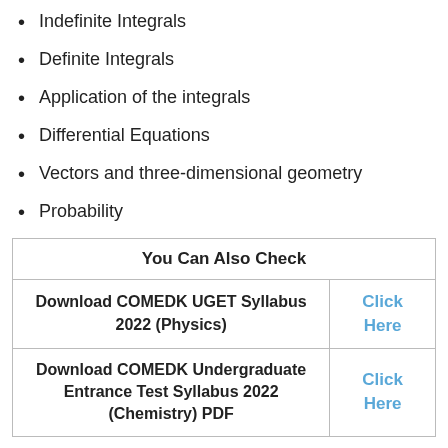Indefinite Integrals
Definite Integrals
Application of the integrals
Differential Equations
Vectors and three-dimensional geometry
Probability
| You Can Also Check |  |
| --- | --- |
| Download COMEDK UGET Syllabus 2022 (Physics) | Click Here |
| Download COMEDK Undergraduate Entrance Test Syllabus 2022 (Chemistry) PDF | Click Here |